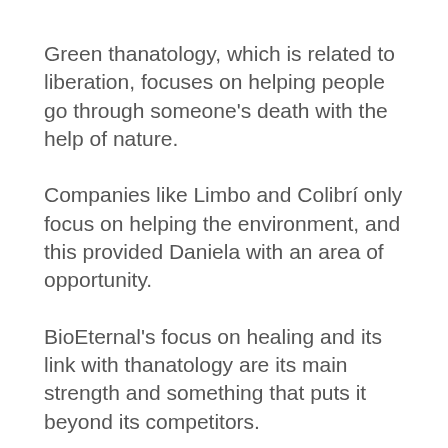Green thanatology, which is related to liberation, focuses on helping people go through someone's death with the help of nature.
Companies like Limbo and Colibrí only focus on helping the environment, and this provided Daniela with an area of opportunity.
BioEternal's focus on healing and its link with thanatology are its main strength and something that puts it beyond its competitors.
Death is not an easy subject to handle.
This is the reason why Daniela not only wants to change processes, but also wants to change experiences